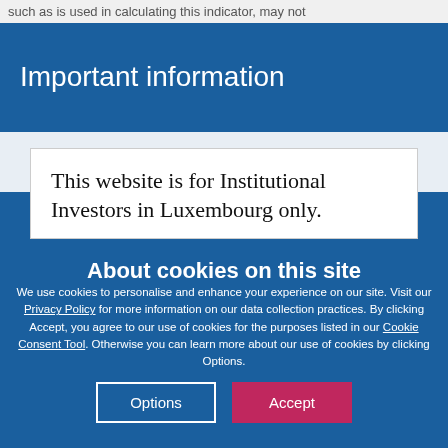such as is used in calculating this indicator, may not
Important information
This website is for Institutional Investors in Luxembourg only.
About cookies on this site
We use cookies to personalise and enhance your experience on our site. Visit our Privacy Policy for more information on our data collection practices. By clicking Accept, you agree to our use of cookies for the purposes listed in our Cookie Consent Tool. Otherwise you can learn more about our use of cookies by clicking Options.